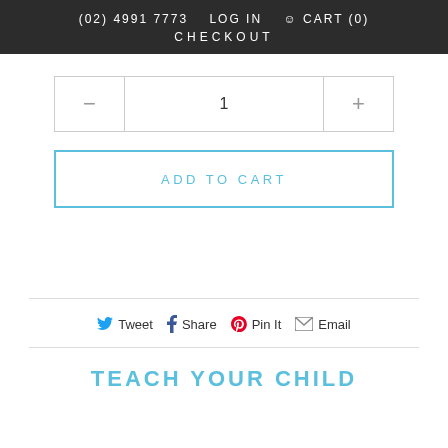(02) 4991 7773  LOG IN  CART (0)  CHECKOUT
— 1 +
ADD TO CART
Tweet  Share  Pin It  Email
TEACH YOUR CHILD